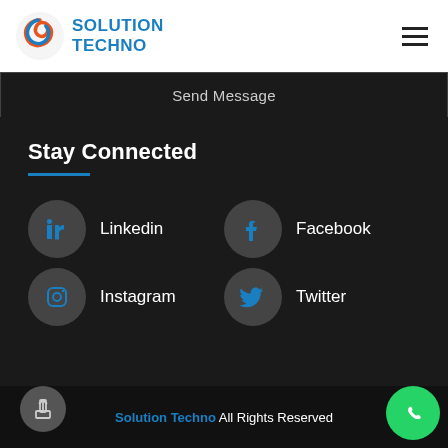Solution Techno
Send Message
Stay Connected
Linkedin
Facebook
Instagram
Twitter
Solution Techno All Rights Reserved